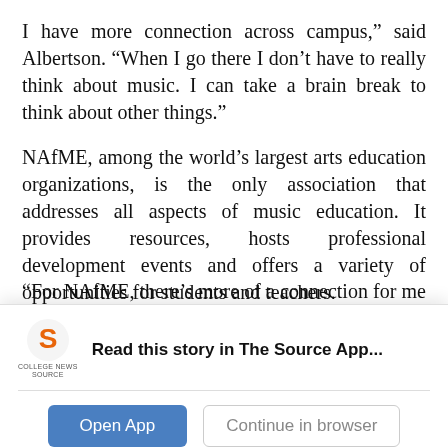I have more connection across campus,” said Albertson. “When I go there I don’t have to really think about music. I can take a brain break to think about other things.”
NAfME, among the world’s largest arts education organizations, is the only association that addresses all aspects of music education. It provides resources, hosts professional development events and offers a variety of opportunities for students and teachers.
“For NAfME, there’s more of a connection for me as a future educator,” said Albertson. “I can get
[Figure (logo): College News Source logo - orange S icon with text COLLEGE NEWS SOURCE below]
Read this story in The Source App...
Open App
Continue in browser